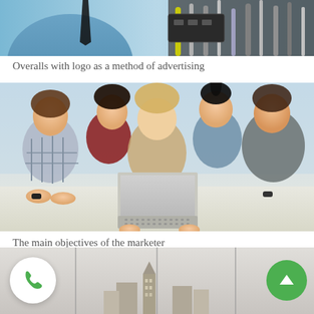[Figure (photo): Partial top image showing a person in blue shirt in what appears to be a vehicle or technical environment with cables and equipment visible]
Overalls with logo as a method of advertising
[Figure (photo): Five young people (students or colleagues) gathered around a laptop, smiling and looking at the screen together]
The main objectives of the marketer
[Figure (other): Footer navigation bar with a green phone icon button on the left (white circle background), a partial city/building image in the center, and a green scroll-up arrow button on the right]